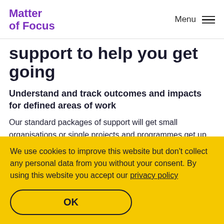Matter of Focus
support to help you get going
Understand and track outcomes and impacts for defined areas of work
Our standard packages of support will get small organisations or single projects and programmes get up and running with a system for tracking progress, with help to pull together and improve data and evidence for defined
We use cookies to improve this website but don’t collect any personal data from you without your consent. By using this website you accept our privacy policy
OK